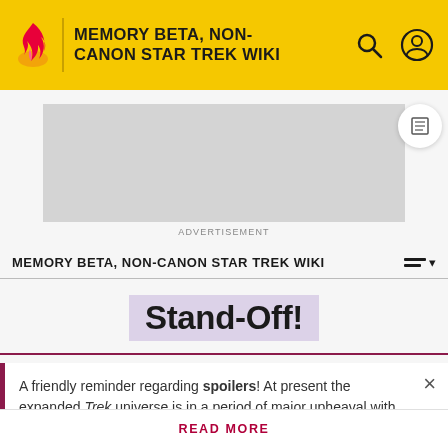MEMORY BETA, NON-CANON STAR TREK WIKI
[Figure (other): Advertisement placeholder (gray rectangle)]
ADVERTISEMENT
MEMORY BETA, NON-CANON STAR TREK WIKI
Stand-Off!
A friendly reminder regarding spoilers! At present the expanded Trek universe is in a period of major upheaval with
READ MORE